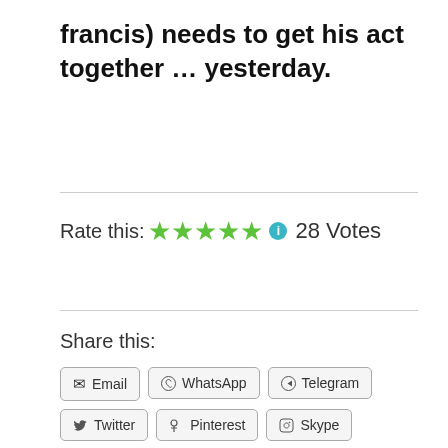francis) needs to get his act together … yesterday.
Rate this: ★★★★★ ℹ 28 Votes
Share this:
Email
WhatsApp
Telegram
Twitter
Pinterest
Skype
Facebook
Tumblr
Print
More